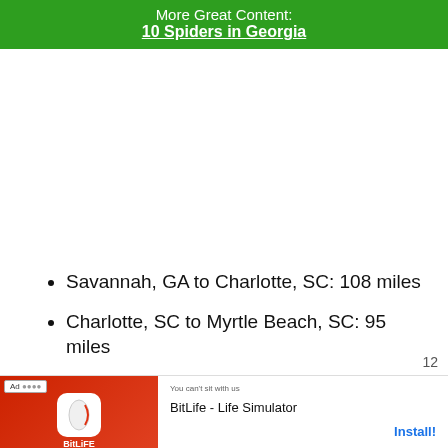More Great Content:
10 Spiders in Georgia
Savannah, GA to Charlotte, SC: 108 miles
Charlotte, SC to Myrtle Beach, SC: 95 miles
Myrtle Beach, SC to Wilmington, NC: 77 miles
Wilmington, NC to Virginia Beach, VA: 312...
[Figure (screenshot): Advertisement banner for BitLife - Life Simulator app with Install button]